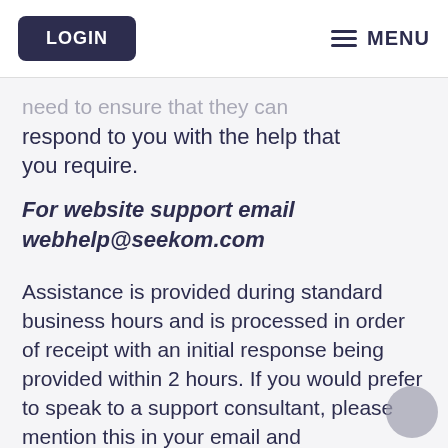LOGIN   MENU
need to ensure that they can respond to you with the help that you require.
For website support email webhelp@seekom.com
Assistance is provided during standard business hours and is processed in order of receipt with an initial response being provided within 2 hours. If you would prefer to speak to a support consultant, please mention this in your email and